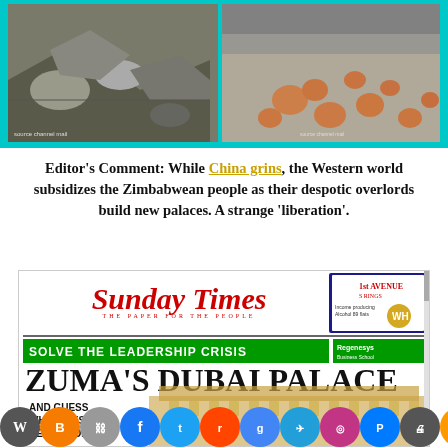[Figure (photo): Two side-by-side photos showing badly damaged roads with potholes and cracked pavement, with a teal/cyan border around the composite image.]
Editor's Comment: While China grins, the Western world subsidizes the Zimbabwean people as their despotic overlords build new palaces. A strange 'liberation'.
[Figure (screenshot): Screenshot of the Sunday Times newspaper front page featuring headline 'ZUMA'S DUBAI PALACE' and subheading 'SOLVE THE LEADERSHIP CRISIS' and 'AND GUESS WHO LIVES NEXT DOOR?']
[Figure (infographic): Row of social media sharing icons including WordPress, Blogger, Chain link, Facebook, Twitter, Reddit, Google, Telegram, Instagram, Pinterest, Print, Share.]